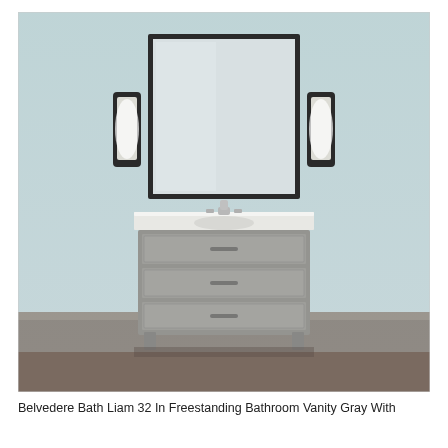[Figure (photo): A freestanding bathroom vanity with gray finish and three drawers, a white countertop with a sink and chrome faucet. Above the vanity is a rectangular black-framed mirror flanked by two wall sconce lights on a light blue-gray wall. The floor is dark wood.]
Belvedere Bath Liam 32 In Freestanding Bathroom Vanity Gray With